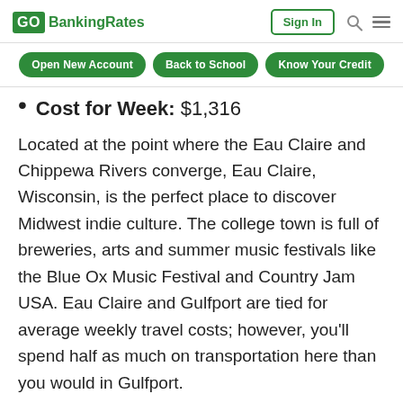GOBankingRates | Sign In
Open New Account | Back to School | Know Your Credit
Cost for Week: $1,316
Located at the point where the Eau Claire and Chippewa Rivers converge, Eau Claire, Wisconsin, is the perfect place to discover Midwest indie culture. The college town is full of breweries, arts and summer music festivals like the Blue Ox Music Festival and Country Jam USA. Eau Claire and Gulfport are tied for average weekly travel costs; however, you'll spend half as much on transportation here than you would in Gulfport.